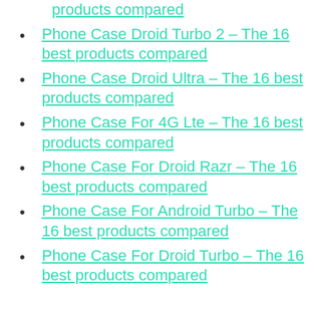products compared
Phone Case Droid Turbo 2 – The 16 best products compared
Phone Case Droid Ultra – The 16 best products compared
Phone Case For 4G Lte – The 16 best products compared
Phone Case For Droid Razr – The 16 best products compared
Phone Case For Android Turbo – The 16 best products compared
Phone Case For Droid Turbo – The 16 best products compared